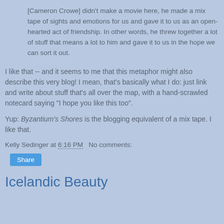[Cameron Crowe] didn't make a movie here, he made a mix tape of sights and emotions for us and gave it to us as an open-hearted act of friendship. In other words, he threw together a lot of stuff that means a lot to him and gave it to us in the hope we can sort it out.
I like that -- and it seems to me that this metaphor might also describe this very blog! I mean, that's basically what I do: just link and write about stuff that's all over the map, with a hand-scrawled notecard saying "I hope you like this too".
Yup: Byzantium's Shores is the blogging equivalent of a mix tape. I like that.
Kelly Sedinger at 6:16 PM   No comments:
Share
Icelandic Beauty